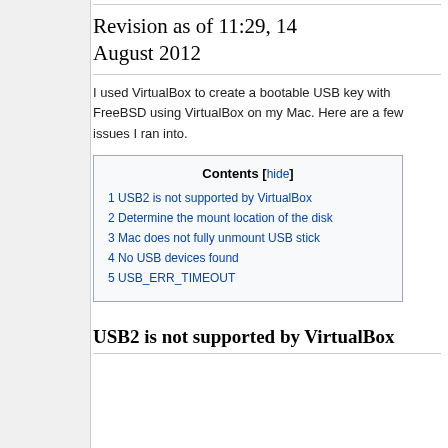Revision as of 11:29, 14 August 2012
I used VirtualBox to create a bootable USB key with FreeBSD using VirtualBox on my Mac. Here are a few issues I ran into.
| Contents [hide] |
| --- |
| 1 USB2 is not supported by VirtualBox |
| 2 Determine the mount location of the disk |
| 3 Mac does not fully unmount USB stick |
| 4 No USB devices found |
| 5 USB_ERR_TIMEOUT |
USB2 is not supported by VirtualBox